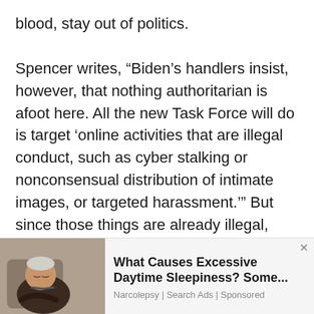blood, stay out of politics.

Spencer writes, “Biden’s handlers insist, however, that nothing authoritarian is afoot here. All the new Task Force will do is target ‘online activities that are illegal conduct, such as cyber stalking or nonconsensual distribution of intimate images, or targeted harassment.’” But since those things are already illegal, why do we need a federal task force to study them? It’s like Democrats passing more anti-gun laws at the same time
[Figure (photo): An elderly man sleeping or dozing in a chair, part of an advertisement for narcolepsy/excessive daytime sleepiness.]
What Causes Excessive Daytime Sleepiness? Some...
Narcolepsy | Search Ads | Sponsored